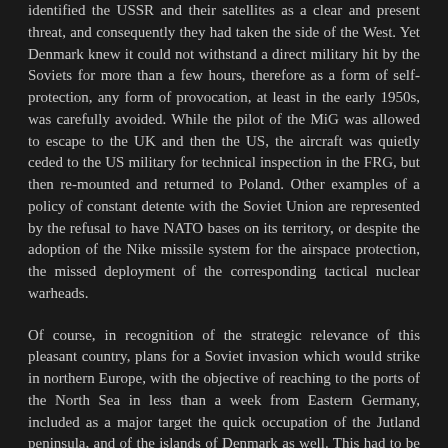identified the USSR and their satellites as a clear and present threat, and consequently they had taken the side of the West. Yet Denmark knew it could not withstand a direct military hit by the Soviets for more than a few hours, therefore as a form of self-protection, any form of provocation, at least in the early 1950s, was carefully avoided. While the pilot of the MiG was allowed to escape to the UK and then the US, the aircraft was quietly ceded to the US military for technical inspection in the FRG, but then re-mounted and returned to Poland. Other examples of a policy of constant detente with the Soviet Union are represented by the refusal to have NATO bases on its territory, or despite the adoption of the Nike missile system for the airspace protection, the missed deployment of the corresponding tactical nuclear warheads.
Of course, in recognition of the strategic relevance of this pleasant country, plans for a Soviet invasion which would strike in northern Europe, with the objective of reaching to the ports of the North Sea in less than a week from Eastern Germany, included as a major target the quick occupation of the Jutland peninsula, and of the islands of Denmark as well. This had to be done by marching fast through the northern regions of the